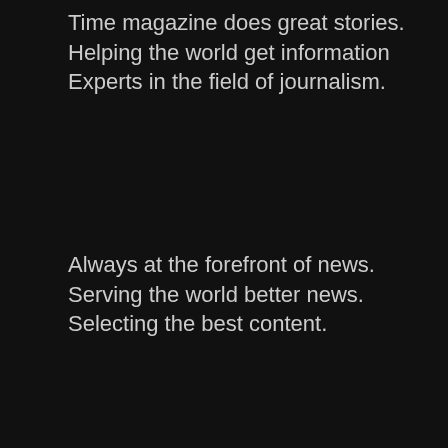Time magazine does great stories.
Helping the world get information
Experts in the field of journalism.
Always at the forefront of news.
Serving the world better news.
Selecting the best content.
★ Loading...
Reply
Advertisements
[Figure (screenshot): Infolinks advertisement banner with cyan/blue gradient background and semicircle shapes]
[Figure (screenshot): BELK advertisement: Denim all day. www.belk.com with fashion imagery and navigation arrow]